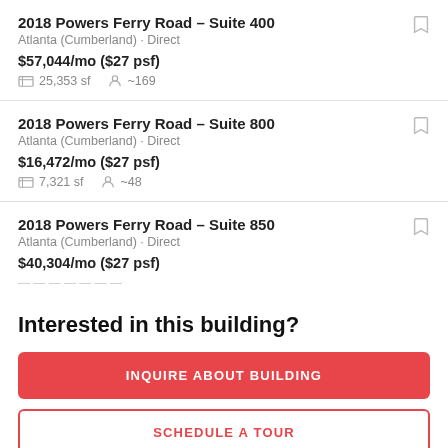2018 Powers Ferry Road - Suite 400
Atlanta (Cumberland) · Direct
$57,044/mo ($27 psf)
25,353 sf  ~169
2018 Powers Ferry Road - Suite 800
Atlanta (Cumberland) · Direct
$16,472/mo ($27 psf)
7,321 sf  ~48
2018 Powers Ferry Road - Suite 850
Atlanta (Cumberland) · Direct
$40,304/mo ($27 psf)
Interested in this building?
INQUIRE ABOUT BUILDING
SCHEDULE A TOUR